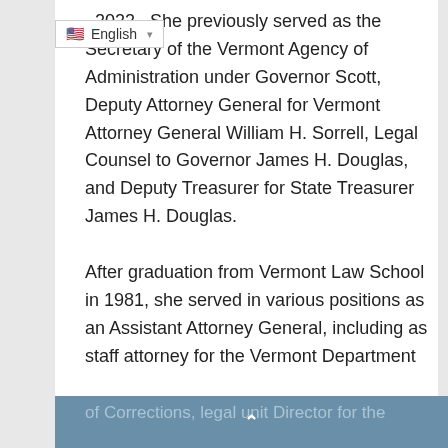[Figure (screenshot): Language selector widget showing US flag icon and 'English' with a dropdown arrow]
, 2022.  She previously served as the Secretary of the Vermont Agency of Administration under Governor Scott, Deputy Attorney General for Vermont Attorney General William H. Sorrell, Legal Counsel to Governor James H. Douglas, and Deputy Treasurer for State Treasurer James H. Douglas.

After graduation from Vermont Law School in 1981, she served in various positions as an Assistant Attorney General, including as staff attorney for the Vermont Department of Corrections, legal unit Director for the